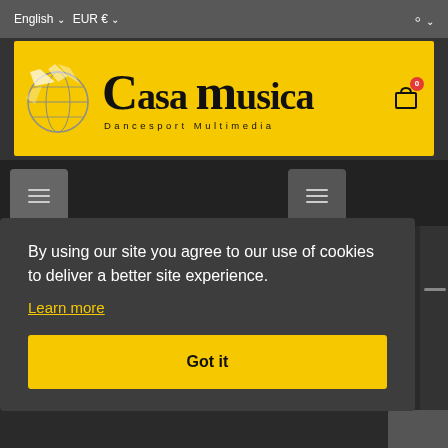English  EUR €
[Figure (logo): Casa musica Dancesport Multimedia logo on yellow background with globe graphic]
[Figure (screenshot): Navigation bar with two hamburger menu buttons on dark background]
By using our site you agree to our use of cookies to deliver a better site experience.
Learn more
Got it